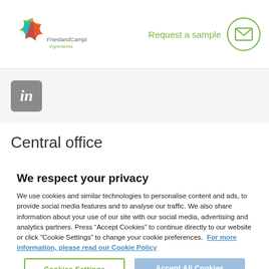FrieslandCampina Ingredients — Request a sample
[Figure (logo): LinkedIn icon — grey rounded square with white italic 'in']
Central office
We respect your privacy
We use cookies and similar technologies to personalise content and ads, to provide social media features and to analyse our traffic. We also share information about your use of our site with our social media, advertising and analytics partners. Press “Accept Cookies” to continue directly to our website or click “Cookie Settings” to change your cookie preferences. For more information, please read our Cookie Policy
Cookies Settings | Accept All Cookies